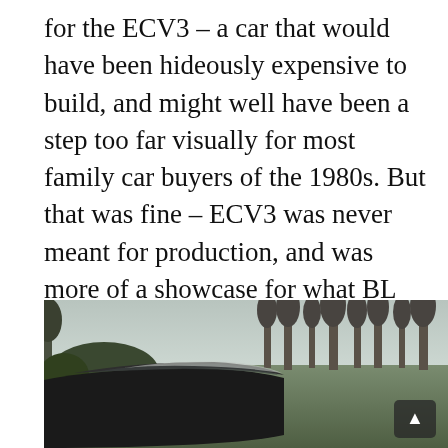for the ECV3 – a car that would have been hideously expensive to build, and might well have been a step too far visually for most family car buyers of the 1980s. But that was fine – ECV3 was never meant for production, and was more of a showcase for what BL Technology was capable of. Elements of it were planned for the Austin Metro-replacing AR6 supermini but, when that was canned, so it seemed were the last vestiges of this fascinating project.
[Figure (photo): Outdoor photo of a car (appears to be a hatchback/supermini) parked in a setting with bare trees and a grey overcast sky, photographed from slightly above and behind showing the roof and rear of the vehicle. A scroll-up arrow button is overlaid at the bottom right of the image.]